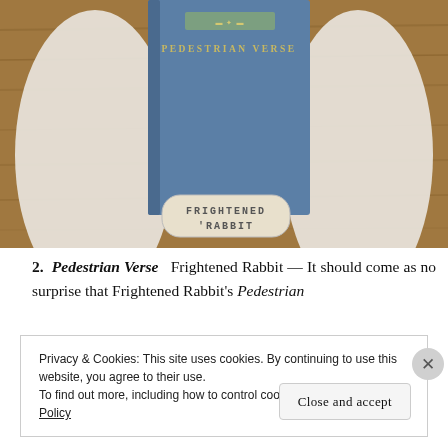[Figure (photo): Overhead photo of a blue hardcover book titled 'Pedestrian Verse' by Frightened Rabbit, placed on a wooden surface with white fabric/cloth on either side, and a small stamped tag reading 'FRIGHTENED RABBIT' below it.]
2. Pedestrian Verse  Frightened Rabbit — It should come as no surprise that Frightened Rabbit's Pedestrian
Privacy & Cookies: This site uses cookies. By continuing to use this website, you agree to their use.
To find out more, including how to control cookies, see here: Cookie Policy
Close and accept